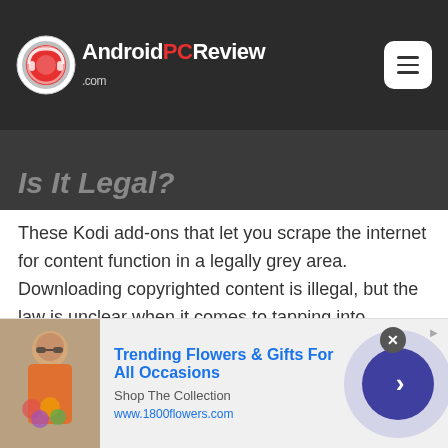AndroidPCReview.com
Is It Legal?
These Kodi add-ons that let you scrape the internet for content function in a legally grey area. Downloading copyrighted content is illegal, but the law is unclear when it comes to tapping into existing streams. The reality is that it is probably against the spirit of the law, if not the letter of the law.
[Figure (screenshot): Advertisement banner for 1800flowers.com: Trending Flowers & Gifts For All Occasions. Shop The Collection. www.1800flowers.com]